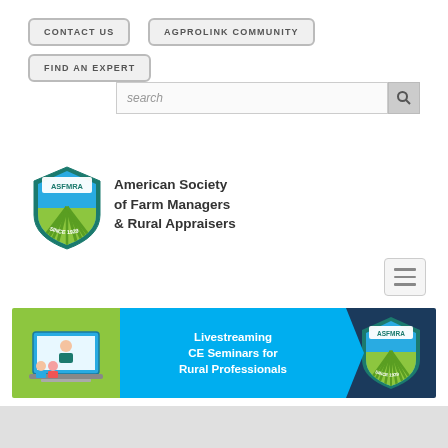CONTACT US
AGPROLINK COMMUNITY
FIND AN EXPERT
search
SIGN IN
[Figure (logo): ASFMRA shield logo with green rays and teal border, text 'SINCE 1929']
American Society of Farm Managers & Rural Appraisers
[Figure (other): Hamburger menu icon (three horizontal lines) in a rounded rectangle]
[Figure (infographic): Banner advertisement for Livestreaming CE Seminars for Rural Professionals with green, cyan and dark blue sections, laptop illustration on left and ASFMRA logo on right]
Livestreaming CE Seminars for Rural Professionals